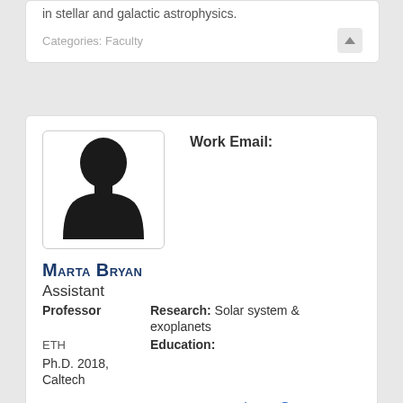in stellar and galactic astrophysics.
Categories: Faculty
[Figure (photo): Silhouette placeholder photo of a person]
Work Email:
Marta Bryan
Assistant
Research: Solar system & exoplanets
Professor
Education:
ETH
Ph.D. 2018, Caltech
marta.bryan@utoronto.ca
Categories:
Updated 3 days ago.